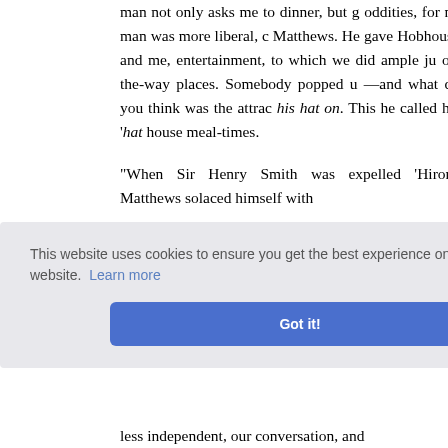man not only asks me to dinner, but g oddities, for no man was more liberal, c Matthews. He gave Hobhouse and me, entertainment, to which we did ample ju of-the-way places. Somebody popped u —and what do you think was the attrac his hat on. This he called his 'hat house meal-times.

"When Sir Henry Smith was expelled 'Hiron,' Matthews solaced himself with

"'Ah me! what perils do environ The ma rofane so ristol) fre ng with v beseech .) As he s either d less independent, our conversation, and
This website uses cookies to ensure you get the best experience on our website. Learn more

Got it!